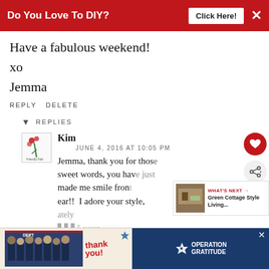Do You Love To DIY?  Click Here!  ×
Have a fabulous weekend!
xo
Jemma
REPLY  DELETE
▾  REPLIES
Kim
JUNE 4, 2016 AT 10:05 PM
Jemma, thank you for those sweet words, you have just made me smile from ear!! I adore your style,
[Figure (screenshot): Advertisement banner at bottom of page with 'thank you' text and Operation Gratitude logo]
[Figure (infographic): What's Next overlay showing Green Cottage Style Living...]